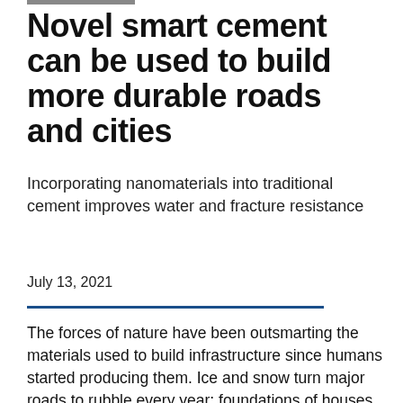Novel smart cement can be used to build more durable roads and cities
Incorporating nanomaterials into traditional cement improves water and fracture resistance
July 13, 2021
The forces of nature have been outsmarting the materials used to build infrastructure since humans started producing them. Ice and snow turn major roads to rubble every year; foundations of houses